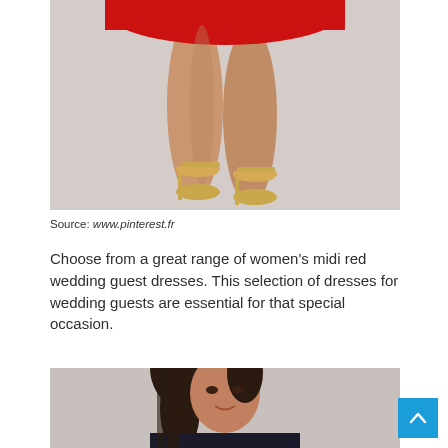[Figure (photo): Lower half of a woman wearing a red skater dress and gold strappy heeled sandals, photographed against a light grey background.]
Source: www.pinterest.fr
Choose from a great range of women's midi red wedding guest dresses. This selection of dresses for wedding guests are essential for that special occasion.
[Figure (photo): A dark-haired woman wearing a dress, photographed from the shoulders up against a light grey background.]